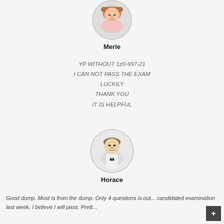[Figure (photo): Circular avatar photo of Merle, a woman with blonde hair]
Merle
YP WITHOUT 1z0-997-21
I CAN NOT PASS THE EXAM
LUCKILY
THANK YOU
IT IS HELPFUL
[Figure (photo): Circular avatar photo of Horace, a man in a white t-shirt]
Horace
Good dump. Most is from the dump. Only 4 questions is out... candidated examination last week. I believe I will pass. Prett...